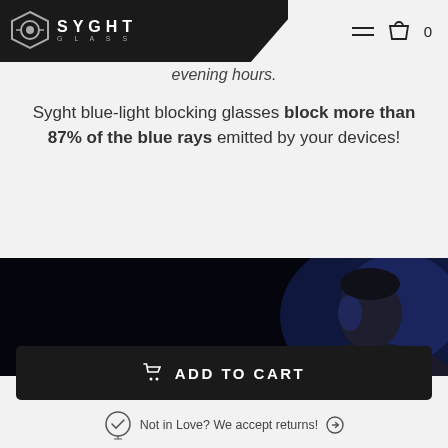SYGHT GLASS
evening hours.
Syght blue-light blocking glasses block more than 87% of the blue rays emitted by your devices!
[Figure (photo): Dark photo of a man's profile lit by blue screen light against a black background]
ADD TO CART
Not in Love? We accept returns!